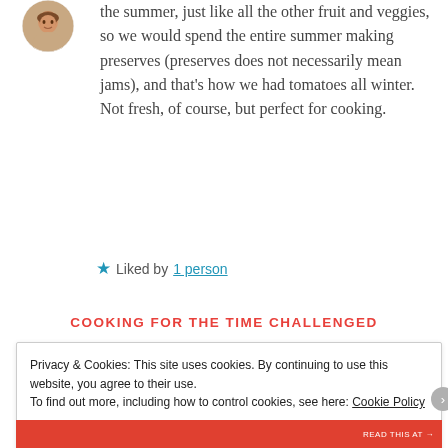[Figure (photo): Circular avatar photo of a woman with short hair, smiling]
the summer, just like all the other fruit and veggies, so we would spend the entire summer making preserves (preserves does not necessarily mean jams), and that's how we had tomatoes all winter. Not fresh, of course, but perfect for cooking.
★ Liked by 1 person
COOKING FOR THE TIME CHALLENGED
Privacy & Cookies: This site uses cookies. By continuing to use this website, you agree to their use. To find out more, including how to control cookies, see here: Cookie Policy
Close and accept